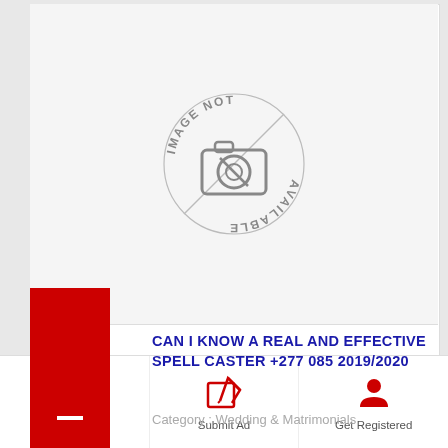[Figure (other): Image Not Available placeholder with circular border, camera icon with slash, and text 'IMAGE NOT AVAILABLE' around the circle]
CAN I KNOW A REAL AND EFFECTIVE SPELL CASTER +277 085 2019/2020
Category : Wedding & Matrimonials
[Figure (other): Partial second listing card visible]
Login | Submit Ad | Get Registered